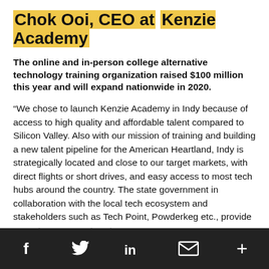Chok Ooi, CEO at Kenzie Academy
The online and in-person college alternative technology training organization raised $100 million this year and will expand nationwide in 2020.
“We chose to launch Kenzie Academy in Indy because of access to high quality and affordable talent compared to Silicon Valley. Also with our mission of training and building a new talent pipeline for the American Heartland, Indy is strategically located and close to our target markets, with direct flights or short drives, and easy access to most tech hubs around the country. The state government in collaboration with the local tech ecosystem and stakeholders such as Tech Point, Powderkeg etc., provide very strong support system
f   t   in   [envelope]   +